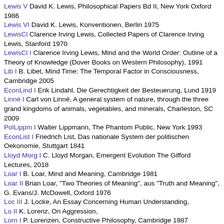Lewis V David K. Lewis, Philosophical Papers Bd II, New York Oxford 1986
Lewis VI David K. Lewis, Konventionen, Berlin 1975
LewisCl Clarence Irving Lewis, Collected Papers of Clarence Irving Lewis, Stanford 1970
LewisCl I Clarence Irving Lewis, Mind and the World Order: Outline of a Theory of Knowledge (Dover Books on Western Philosophy), 1991
Lib I B. Libet, Mind Time: The Temporal Factor in Consciousness, Cambridge 2005
EconLind I Erik Lindahl, Die Gerechtigkeit der Besteuerung, Lund 1919
Linné I Carl von Linné, A general system of nature, through the three grand kingdoms of animals, vegetables, and minerals, Charleston, SC 2009
PolLippm I Walter Lippmann, The Phantom Public, New York 1993
EconList I Friedrich List, Das nationale System der politischen Oekonomie, Stuttgart 1841
Lloyd Morg I C. Lloyd Morgan, Emergent Evolution The Gifford Lectures, 2018
Loar I B. Loar, Mind and Meaning, Cambridge 1981
Loar II Brian Loar, "Two Theories of Meaning", aus "Truth and Meaning", G. Evans/J. McDowell, Oxford 1976
Loc III J. Locke, An Essay Concerning Human Understanding,
Lo II K. Lorenz, On Aggression,
Lorn I P. Lorenzen, Constructive Philosophy, Cambridge 1987
PolLowi I Theodore J. Lowi, Four systems of policy, politics, and choice, 1972
Löw I Karl Löwith, Heidegger. Denker in dürftiger Zeit, Göttingen 1960
EconLucas I Robert E. Lucas, Understanding business cycles, aus "Stabilization of the domestic and international ec", Karl Brunner and Allan H. Meltzer, Bd. 5, Amsterdam 1977
Lü I K. Lüdeking, Analytische Philosophie der Kunst, München 1998
LudI I P. Ludlow, The Philosophy of Generative Linguistics, Oxford 2013
AU I N. Luhmann, Einführung in die Systemtheorie, Heidelberg 1992
Lu I N. Luhmann, Die Kunst der Gesellschaft, Frankfurt 1997
PolLowi I ...